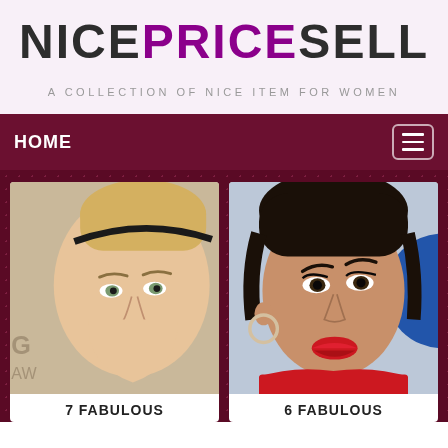NICEPRICESELL
A COLLECTION OF NICE ITEM FOR WOMEN
HOME
[Figure (photo): Close-up photo of a blonde woman wearing a black headband at an event]
7 FABULOUS
[Figure (photo): Close-up photo of a dark-haired woman in a red outfit at an event]
6 FABULOUS